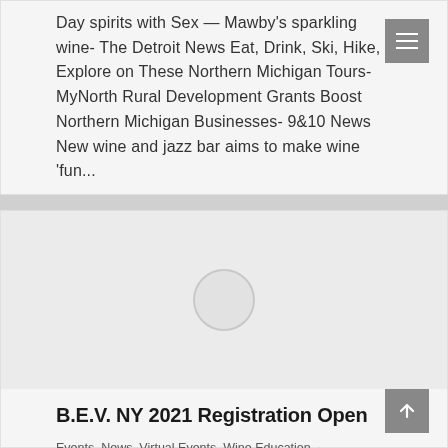Day spirits with Sex — Mawby's sparkling wine- The Detroit News Eat, Drink, Ski, Hike, Explore on These Northern Michigan Tours- MyNorth Rural Development Grants Boost Northern Michigan Businesses- 9&10 News New wine and jazz bar aims to make wine 'fun...
[Figure (other): Placeholder image with a light gray background and a circular loading/placeholder icon in the center]
B.E.V. NY 2021 Registration Open
Events, News, Virtual Events, Wine Education · By Emily Dockery · February 16, 2021